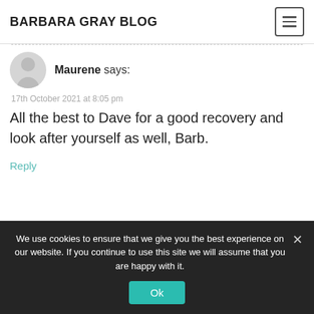BARBARA GRAY BLOG
Maurene says:
17th October 2021 at 8:05 pm
All the best to Dave for a good recovery and look after yourself as well, Barb.
Reply
We use cookies to ensure that we give you the best experience on our website. If you continue to use this site we will assume that you are happy with it. Ok